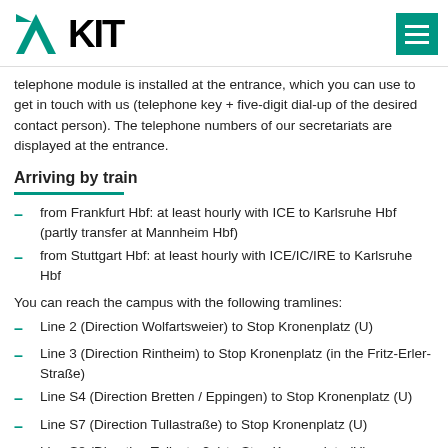KIT logo and navigation menu
telephone module is installed at the entrance, which you can use to get in touch with us (telephone key + five-digit dial-up of the desired contact person). The telephone numbers of our secretariats are displayed at the entrance.
Arriving by train
from Frankfurt Hbf: at least hourly with ICE to Karlsruhe Hbf (partly transfer at Mannheim Hbf)
from Stuttgart Hbf: at least hourly with ICE/IC/IRE to Karlsruhe Hbf
You can reach the campus with the following tramlines:
Line 2 (Direction Wolfartsweier) to Stop Kronenplatz (U)
Line 3 (Direction Rintheim) to Stop Kronenplatz (in the Fritz-Erler-Straße)
Line S4 (Direction Bretten / Eppingen) to Stop Kronenplatz (U)
Line S7 (Direction Tullastraße) to Stop Kronenplatz (U)
Line S8 (Direction Tullastraße) to Stop Kronenplatz (U)